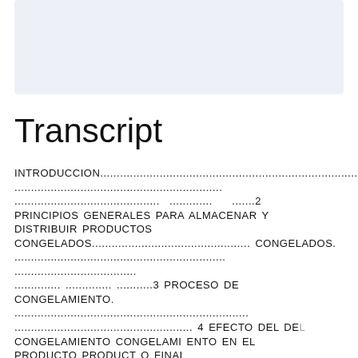[Figure (other): Light blue/grey rectangular image placeholder at the top of the page]
Transcript
INTRODUCCION......................................................................................................
............................................................... ............................................. ............. .......2
PRINCIPIOS GENERALES PARA ALMACENAR Y DISTRIBUIR PRODUCTOS CONGELADOS............................................. CONGELADOS.
................................................................ ......................................
.............. .............. ...........3 PROCESO DE CONGELAMIENTO. .............................................................................................  4 EFECTO DEL DEL CONGELAMIENTO CONGELAMI ENTO EN EL PRODUCTO PRODUCT O FINAL